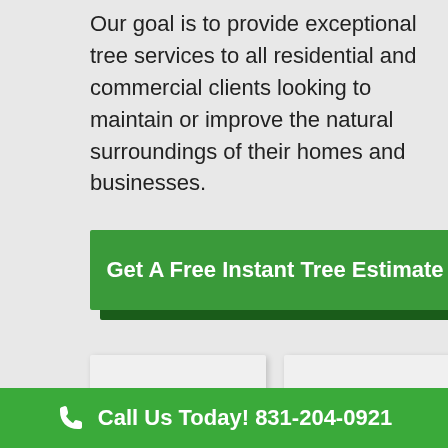Our goal is to provide exceptional tree services to all residential and commercial clients looking to maintain or improve the natural surroundings of their homes and businesses.
Get A Free Instant Tree Estimate
[Figure (other): Two white card placeholders side by side]
Call Us Today! 831-204-0921